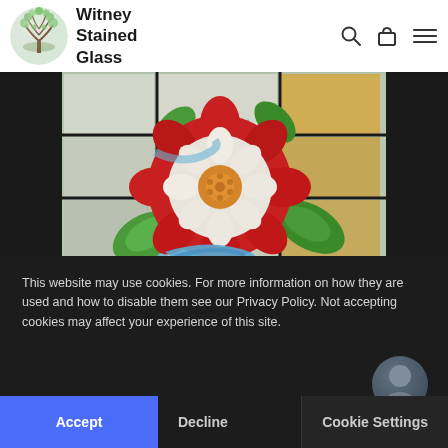Witney Stained Glass
[Figure (photo): Stained glass window panel featuring a large Tudor rose design in red, white and green against paned clear and amber glass sections]
Projects
Tudor Rose Panels
This website may use cookies. For more information on how they are used and how to disable them see our Privacy Policy. Not accepting cookies may affect your experience of this site.